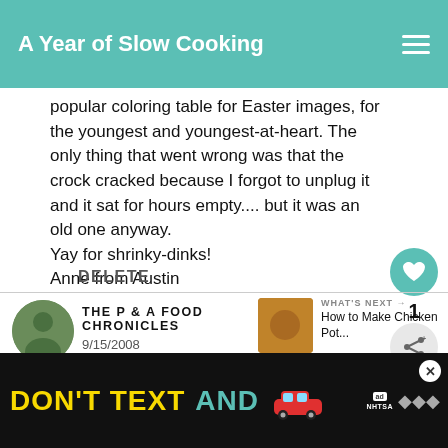A Year of Slow Cooking
popular coloring table for Easter images, for the youngest and youngest-at-heart. The only thing that went wrong was that the crock cracked because I forgot to unplug it and it sat for hours empty.... but it was an old one anyway.
Yay for shrinky-dinks!
Anne from Austin
DELETE
THE P & A FOOD CHRONICLES
9/15/2008
WHAT'S NEXT →
How to Make Chicken Pot...
www.random-things...pretty-co...
[Figure (screenshot): Ad banner: DON'T TEXT AND [car icon] with ad badge and NHTSA logo, close button, and mic icon]